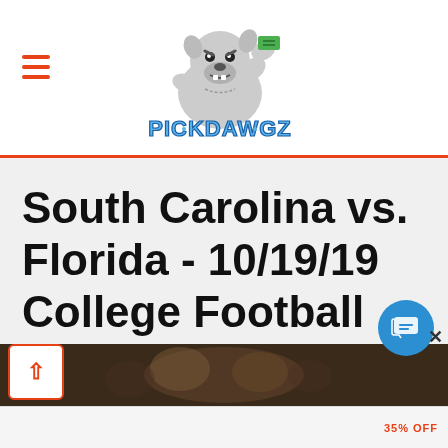[Figure (logo): PickDawgz logo — muscular bulldog mascot holding cash with 'PICKDAWGZ' text in blue block letters below]
South Carolina vs. Florida - 10/19/19 College Football Pick, Odds, and Prediction
[Figure (photo): Partially visible blurred photo of football players at bottom of page]
35% OFF